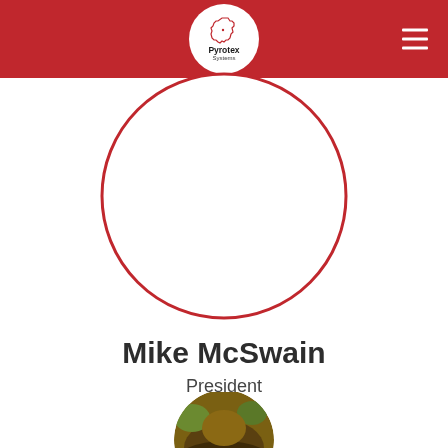[Figure (logo): Pyrotex Systems logo — white circle with Texas state outline in red and text 'Pyrotex Systems']
[Figure (photo): Circular profile photo placeholder with red border outline, white interior — likely person photo clipped to circle]
Mike McSwain
President
[Figure (photo): Partial circular photo of next person visible at bottom of page, showing hair/outdoors background]